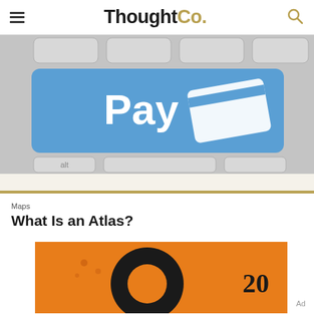ThoughtCo.
[Figure (photo): Close-up of a keyboard with a large blue 'Pay' button featuring a credit card icon, with 'alt' key visible below]
Maps
What Is an Atlas?
[Figure (photo): Partial view of an orange book cover with a circular black graphic and the number '20']
Ad